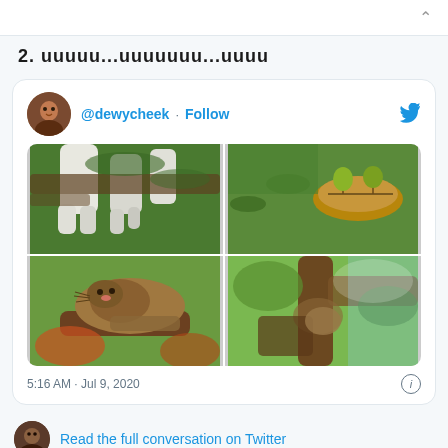2. uuuuu...uuuuuuu...uuuu
[Figure (screenshot): Embedded tweet from @dewycheek showing four photos of cats sleeping or lounging in trees. Tweet timestamp: 5:16 AM · Jul 9, 2020]
Read the full conversation on Twitter